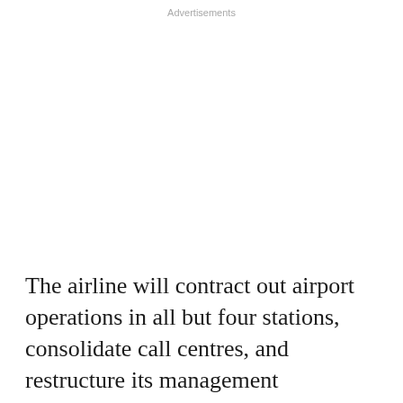Advertisements
The airline will contract out airport operations in all but four stations, consolidate call centres, and restructure its management